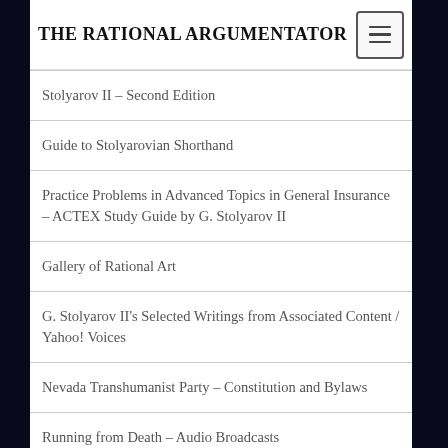THE RATIONAL ARGUMENTATOR
Stolyarov II – Second Edition
Guide to Stolyarovian Shorthand
Practice Problems in Advanced Topics in General Insurance – ACTEX Study Guide by G. Stolyarov II
Gallery of Rational Art
G. Stolyarov II's Selected Writings from Associated Content / Yahoo! Voices
Nevada Transhumanist Party – Constitution and Bylaws
Running from Death – Audio Broadcasts
Free Tools for Rational Education